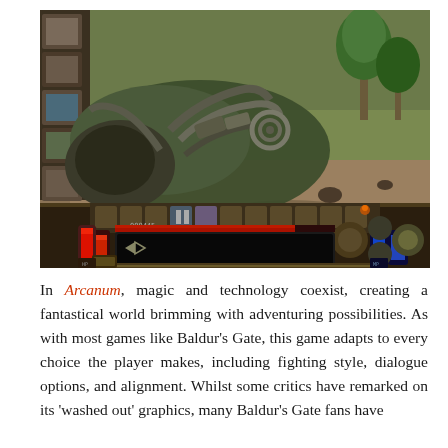[Figure (screenshot): Screenshot of the video game Arcanum showing an isometric top-down view of a desert/arid environment with a large mechanical or biomechanical creature carcass, small character sprites, palm trees, and the game's HUD at the bottom including red and blue health/mana bars, a dialogue box, and character portrait icons on the left sidebar.]
In Arcanum, magic and technology coexist, creating a fantastical world brimming with adventuring possibilities. As with most games like Baldur's Gate, this game adapts to every choice the player makes, including fighting style, dialogue options, and alignment. Whilst some critics have remarked on its 'washed out' graphics, many Baldur's Gate fans have